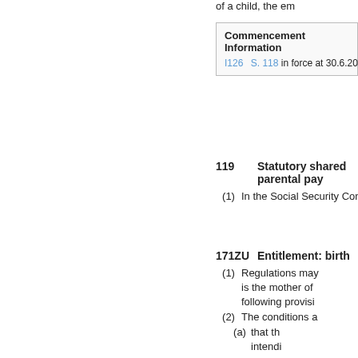of a child, the em
| Commencement Information |
| --- |
| I126 | S. 118 in force at 30.6.2014 by S.I. 201 |
119   Statutory shared parental pay
(1)   In the Social Security Contribu
171ZU   Entitlement: birth
(1)   Regulations may ... is the mother of ... following provisi
(2)   The conditions a
(a)   that th ... intendi
(b)   that P